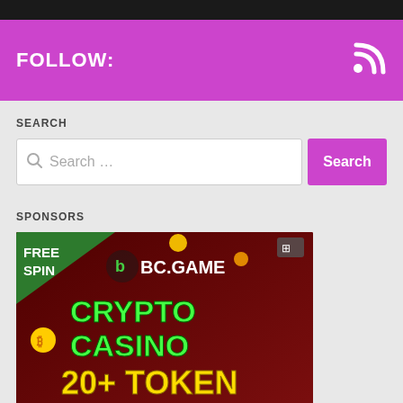[Figure (screenshot): Top dark bar with partial header image]
FOLLOW:
SEARCH
Search ...
SPONSORS
[Figure (photo): BC.GAME Crypto Casino advertisement banner. Shows FREE SPIN text, BC.GAME logo, CRYPTO CASINO 20+ TOKEN, WIN 5 BTC]